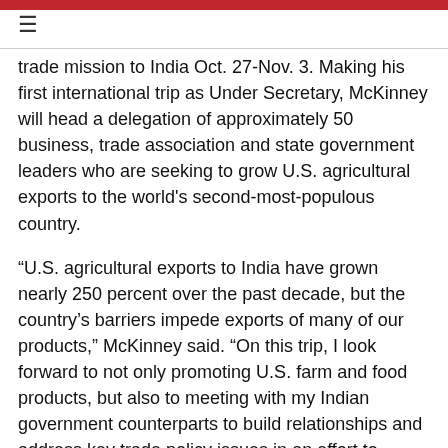≡
trade mission to India Oct. 27-Nov. 3. Making his first international trip as Under Secretary, McKinney will head a delegation of approximately 50 business, trade association and state government leaders who are seeking to grow U.S. agricultural exports to the world's second-most-populous country.
“U.S. agricultural exports to India have grown nearly 250 percent over the past decade, but the country's barriers impede exports of many of our products,” McKinney said. “On this trip, I look forward to not only promoting U.S. farm and food products, but also to meeting with my Indian government counterparts to build relationships and address key trade policy issues in an effort to improve American access to this important market.”